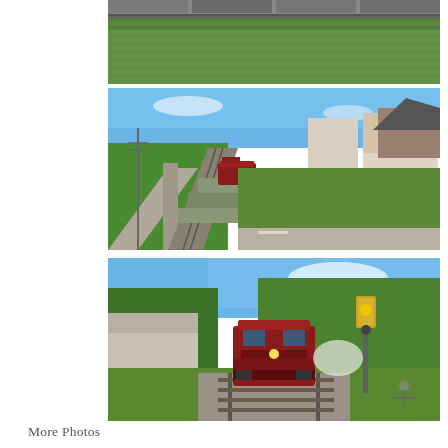[Figure (photo): Top portion of a freight train passing through a green grain field, viewed from above. Blue sky and green crops visible.]
[Figure (photo): Aerial view of a red diesel locomotive pulling freight cars along a railway through a small German town. Buildings, trees, a road and retaining wall visible on a sunny day.]
[Figure (photo): Front view of a red diesel locomotive approaching the camera at a level crossing. Yellow signal light on the right, trees and a building in the background, sunny day.]
More Photos